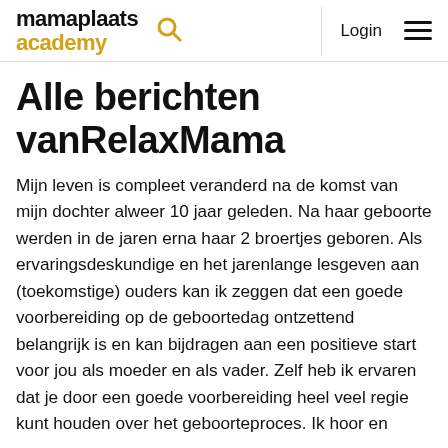mamaplaats academy
Alle berichten vanRelaxMama
Mijn leven is compleet veranderd na de komst van mijn dochter alweer 10 jaar geleden. Na haar geboorte werden in de jaren erna haar 2 broertjes geboren. Als ervaringsdeskundige en het jarenlange lesgeven aan (toekomstige) ouders kan ik zeggen dat een goede voorbereiding op de geboortedag ontzettend belangrijk is en kan bijdragen aan een positieve start voor jou als moeder en als vader. Zelf heb ik ervaren dat je door een goede voorbereiding heel veel regie kunt houden over het geboorteproces. Ik hoor en